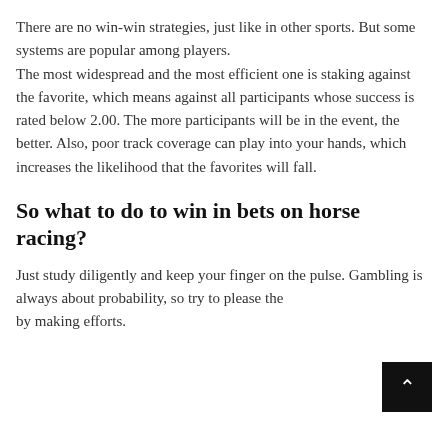There are no win-win strategies, just like in other sports. But some systems are popular among players. The most widespread and the most efficient one is staking against the favorite, which means against all participants whose success is rated below 2.00. The more participants will be in the event, the better. Also, poor track coverage can play into your hands, which increases the likelihood that the favorites will fall.
So what to do to win in bets on horse racing?
Just study diligently and keep your finger on the pulse. Gambling is always about probability, so try to please the [odds] by making efforts.